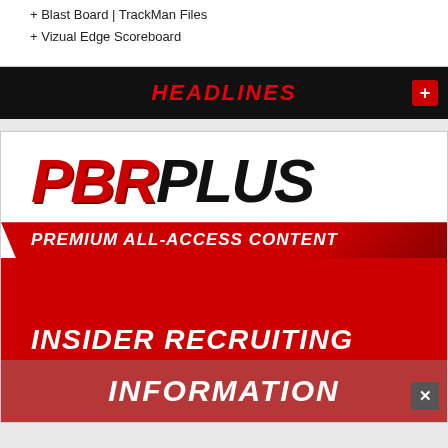+ Blast Board | TrackMan Files
+ Vizual Edge Scoreboard
HEADLINES
[Figure (logo): PBR PLUS Premium All-Access Content - Insider Recruiting Information advertisement banner with red and black branding]